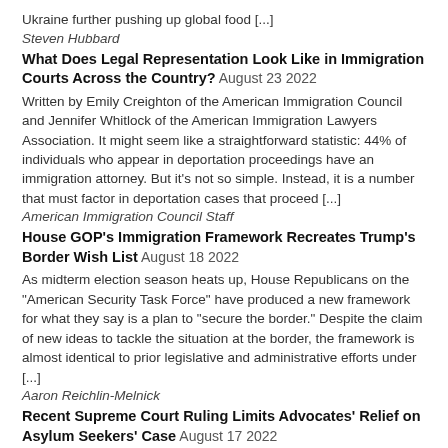Ukraine further pushing up global food [...]
Steven Hubbard
What Does Legal Representation Look Like in Immigration Courts Across the Country? August 23 2022
Written by Emily Creighton of the American Immigration Council and Jennifer Whitlock of the American Immigration Lawyers Association.  It might seem like a straightforward statistic: 44% of individuals who appear in deportation proceedings have an immigration attorney. But it's not so simple. Instead, it is a number that must factor in deportation cases that proceed [...]
American Immigration Council Staff
House GOP's Immigration Framework Recreates Trump's Border Wish List August 18 2022
As midterm election season heats up, House Republicans on the "American Security Task Force" have produced a new framework for what they say is a plan to "secure the border." Despite the claim of new ideas to tackle the situation at the border, the framework is almost identical to prior legislative and administrative efforts under [...]
Aaron Reichlin-Melnick
Recent Supreme Court Ruling Limits Advocates' Relief on Asylum Seekers' Case August 17 2022
A federal court decision this month confirmed what advocates feared: that a recent move by the Supreme Court would undermine the fight